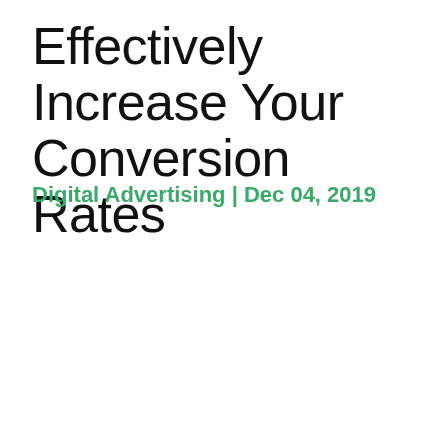Effectively Increase Your Conversion Rates
Digital Advertising | Dec 04, 2019